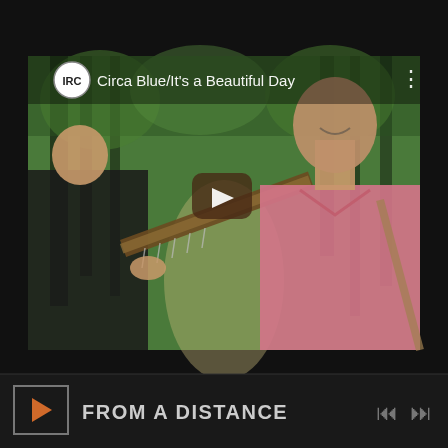[Figure (screenshot): A YouTube video thumbnail screenshot showing two musicians outdoors in a forested path. One person (left, dark shirt) plays an acoustic guitar. Another person (right, pink shirt) is smiling. A large play button is overlaid in the center. The video title bar at the top shows the IRC logo and text 'Circa Blue/It's a Beautiful Day'. Below the video is a media player bar with play button, text 'FROM A DISTANCE', and skip controls.]